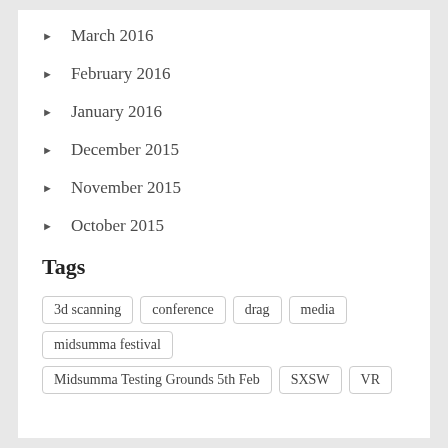March 2016
February 2016
January 2016
December 2015
November 2015
October 2015
Tags
3d scanning  conference  drag  media  midsumma festival  Midsumma Testing Grounds 5th Feb  SXSW  VR